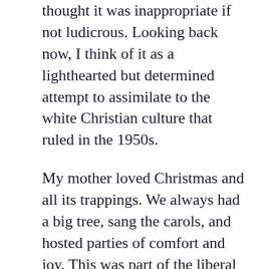thought it was inappropriate if not ludicrous. Looking back now, I think of it as a lighthearted but determined attempt to assimilate to the white Christian culture that ruled in the 1950s.
My mother loved Christmas and all its trappings. We always had a big tree, sang the carols, and hosted parties of comfort and joy. This was part of the liberal mystique of the time to proclaim brotherhood with Christians, treating the holiday as an occasion for broad secular respect—much as we cherish Santa Claus.
I never went much for the religious side of Judaism, and the white Christian ideals of that time also seemed just foreign to me. We heard pious mouthings from the believers on the one hand, and then the rage of zealots like those who celebrated the grisly murder of Emmett Till. Fierce anger and hostility came from people who at the same time professed to be godly Christians.